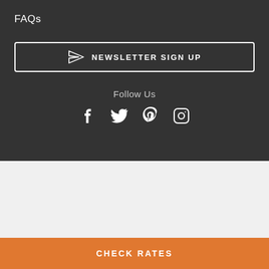FAQs
NEWSLETTER SIGN UP
Follow Us
[Figure (illustration): Social media icons: Facebook, Twitter, Pinterest, Instagram]
[Figure (screenshot): Booking widget UI with check-in/check-out dates (Sep 01 → Sep 04), guests selector (2 Guests), and CHECK RATES button]
CHECK-IN / CHECK-OUT
Sep 01  →  Sep 04
GUESTS
2 Guests
CHECK RATES